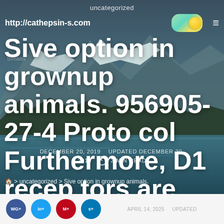uncategorized
http://cathepsin-s.com
Sive option in grownup animals. 956905-27-4 Protocol Furthermore, D1 receptors are elevated for the duration
DECEMBER 20, 2019  UPDATED DECEMBER 20, 2019  2 MIN READ
> uncategorized > Sive option in grownup animals.